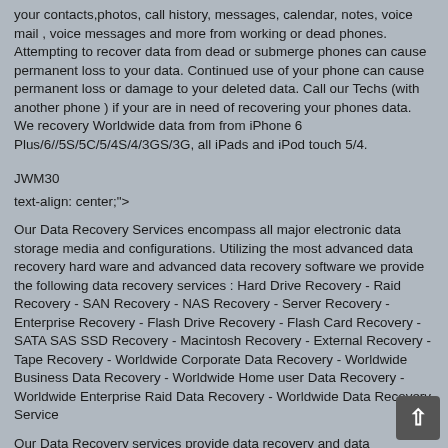your contacts,photos, call history, messages, calendar, notes, voice mail , voice messages and more from working or dead phones. Attempting to recover data from dead or submerge phones can cause permanent loss to your data. Continued use of your phone can cause permanent loss or damage to your deleted data. Call our Techs (with another phone ) if your are in need of recovering your phones data. We recovery Worldwide data from from iPhone 6 Plus/6//5S/5C/5/4S/4/3GS/3G, all iPads and iPod touch 5/4.
JWM30
text-align: center;">
Our Data Recovery Services encompass all major electronic data storage media and configurations. Utilizing the most advanced data recovery hard ware and advanced data recovery software we provide the following data recovery services : Hard Drive Recovery - Raid Recovery - SAN Recovery - NAS Recovery - Server Recovery - Enterprise Recovery - Flash Drive Recovery - Flash Card Recovery - SATA SAS SSD Recovery - Macintosh Recovery - External Recovery - Tape Recovery - Worldwide Corporate Data Recovery - Worldwide Business Data Recovery - Worldwide Home user Data Recovery - Worldwide Enterprise Raid Data Recovery - Worldwide Data Recovery Service
Our Data Recovery services provide data recovery and data reconstruction for corrupted files and databases. We provide Em... Database REPAIR, RECONSTRUCTION, RECOVERY for: Share